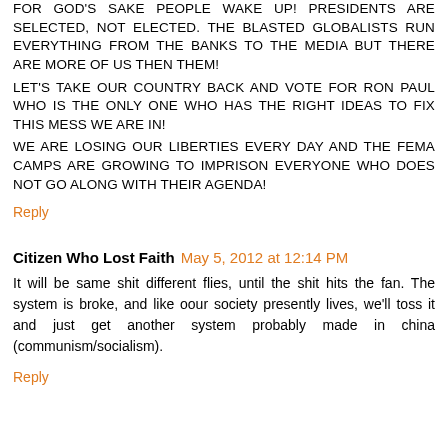FOR GOD'S SAKE PEOPLE WAKE UP! PRESIDENTS ARE SELECTED, NOT ELECTED. THE BLASTED GLOBALISTS RUN EVERYTHING FROM THE BANKS TO THE MEDIA BUT THERE ARE MORE OF US THEN THEM! lET'S TAKE OUR COUNTRY BACK AND VOTE FOR RON PAUL WHO IS THE ONLY ONE WHO HAS THE RIGHT IDEAS TO FIX THIS MESS WE ARE IN! WE ARE LOSING OUR LIBERTIES EVERY DAY AND THE FEMA CAMPS ARE GROWING TO IMPRISON EVERYONE WHO DOES NOT GO ALONG WITH THEIR AGENDA!
Reply
Citizen Who Lost Faith  May 5, 2012 at 12:14 PM
It will be same shit different flies, until the shit hits the fan. The system is broke, and like oour society presently lives, we'll toss it and just get another system probably made in china (communism/socialism).
Reply